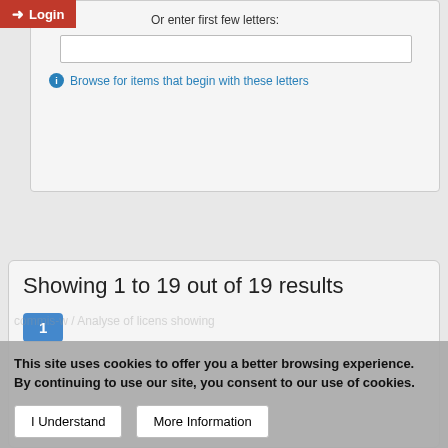[Figure (screenshot): Login button in red at top left corner]
Or enter first few letters:
Browse for items that begin with these letters
[Figure (screenshot): Go button, purple/blue rounded rectangle]
Showing 1 to 19 out of 19 results
1
This site uses cookies to offer you a better browsing experience. By continuing to use our site, you consent to our use of cookies.
I Understand
More Information